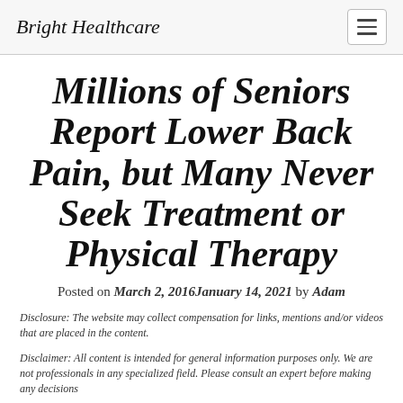Bright Healthcare
Millions of Seniors Report Lower Back Pain, but Many Never Seek Treatment or Physical Therapy
Posted on March 2, 2016January 14, 2021 by Adam
Disclosure: The website may collect compensation for links, mentions and/or videos that are placed in the content.
Disclaimer: All content is intended for general information purposes only. We are not professionals in any specialized field. Please consult an expert before making any decisions